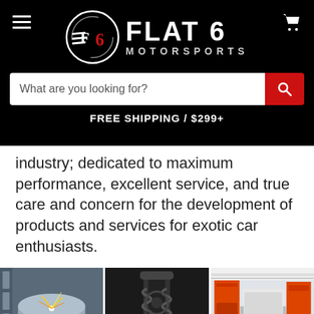[Figure (logo): Flat 6 Motorsports logo: circular emblem with stylized F and 6 in red/white/grey, with text FLAT 6 MOTORSPORTS in white on black background]
What are you looking for?
FREE SHIPPING / $299+
industry; dedicated to maximum performance, excellent service, and true care and concern for the development of products and services for exotic car enthusiasts.
[Figure (photo): Three workshop photos side by side: left shows metal welding/sparks on a cylindrical pipe, center shows engine components/suspension parts close-up, right shows industrial orange and white machinery in a workshop.]